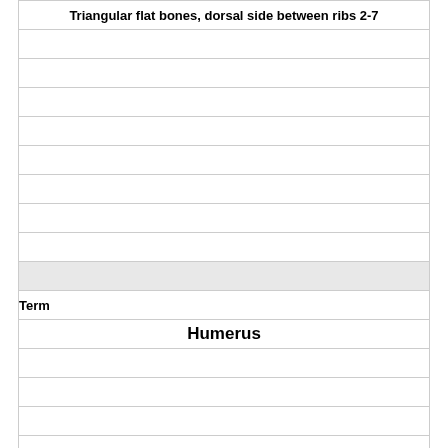| Triangular flat bones, dorsal side between ribs 2-7 |
| --- |
|  |
|  |
|  |
|  |
|  |
|  |
|  |
|  |
|  |
| (gray bar) |
| Term |
| Humerus |
|  |
|  |
|  |
|  |
|  |
|  |
|  |
| Definition |